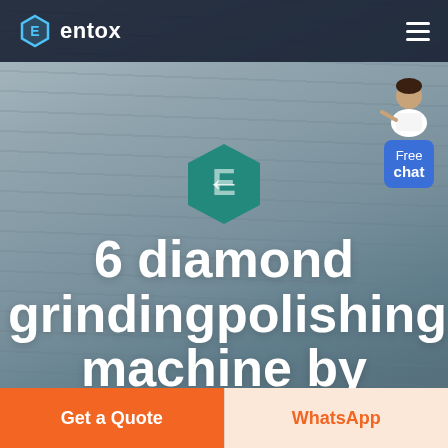entox
[Figure (screenshot): Entox website hero section with aerial farm/field background image, teal hexagon logo icon, large white bold text reading '6 diamond grindingpolishing machine by', free chat widget with person illustration and blue bubble, and bottom CTA bar with orange 'Get a Quote' button and peach 'WhatsApp' button]
6 diamond grindingpolishing machine by